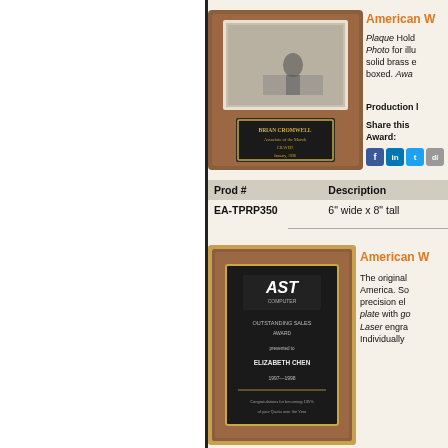[Figure (photo): Photo plaque award with brass engraving plate, showing a person in an office setting with 'Brian Cromwell Associate of the Month' text]
American W
Plaque Holds a Photo for illustration. Solid brass engraved, boxed. Award...
Production l
Share this Award:
| Prod # | Description |
| --- | --- |
| EA-TPRP350 | 6" wide x 8" tall |
[Figure (photo): American walnut plaque with AST logo and black engraving plate with gold border, showing sales award for Elizabeth Chen]
American W
The original America. Solid precision elliptical plate with gold border. Laser engraved. Individually boxed.